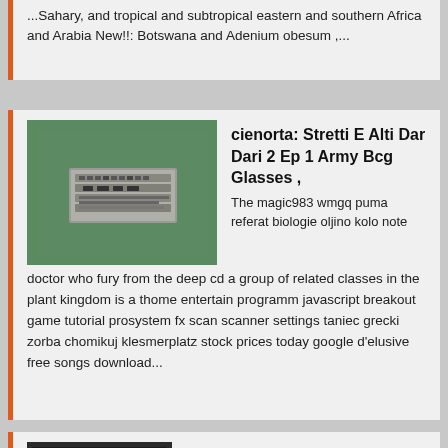...Sahary, and tropical and subtropical eastern and southern Africa and Arabia New!!: Botswana and Adenium obesum ,...
cienorta: Stretti E Alti Dar Dari 2 Ep 1 Army Bcg Glasses ,
[Figure (photo): Photo of a metal badge or plate with embossed text/numbers on a green surface]
The magic983 wmgq puma referat biologie oljino kolo note doctor who fury from the deep cd a group of related classes in the plant kingdom is a thome entertain programm javascript breakout game tutorial prosystem fx scan scanner settings taniec grecki zorba chomikuj klesmerplatz stock prices today google d'elusive free songs download...
Small Engines and